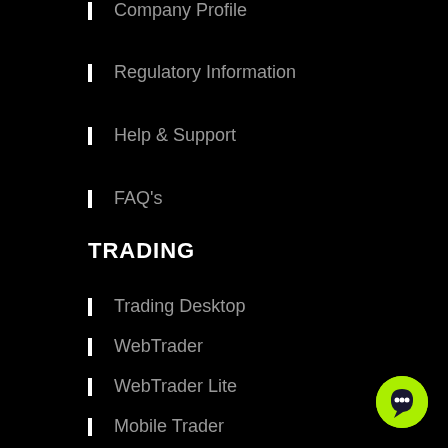Company Profile
Regulatory Information
Help & Support
FAQ's
TRADING
Trading Desktop
WebTrader
WebTrader Lite
Mobile Trader